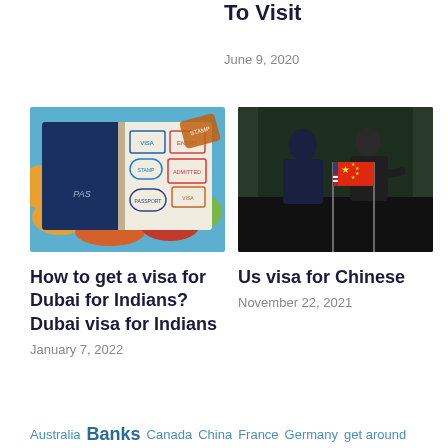To Visit
June 9, 2020
[Figure (photo): Open passport with visa stamps on a colorful world map background]
How to get a visa for Dubai for Indians? Dubai visa for Indians
January 7, 2022
[Figure (photo): Two men in suits standing behind a small US flag and Chinese flag crossed together]
Us visa for Chinese
November 22, 2021
Australia Banks Canada China France Germany get around